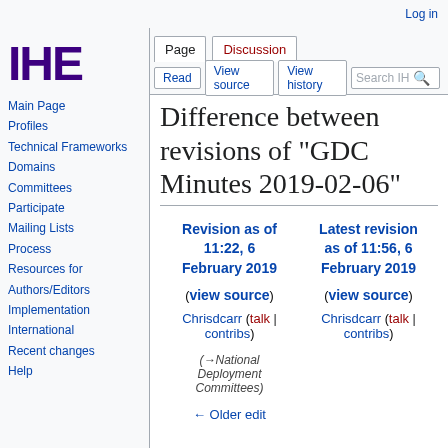Log in
[Figure (logo): IHE logo in dark purple bold text]
Main Page
Profiles
Technical Frameworks
Domains
Committees
Participate
Mailing Lists
Process
Resources for Authors/Editors
Implementation
International
Recent changes
Help
Difference between revisions of "GDC Minutes 2019-02-06"
| Revision as of 11:22, 6 February 2019 | Latest revision as of 11:56, 6 February 2019 |
| --- | --- |
| (view source) | (view source) |
| Chrisdcarr (talk | contribs) | Chrisdcarr (talk | contribs) |
| (→National Deployment Committees) |  |
| ← Older edit |  |